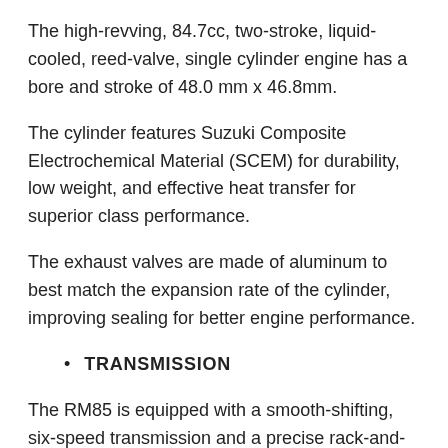The high-revving, 84.7cc, two-stroke, liquid-cooled, reed-valve, single cylinder engine has a bore and stroke of 48.0 mm x 46.8mm.
The cylinder features Suzuki Composite Electrochemical Material (SCEM) for durability, low weight, and effective heat transfer for superior class performance.
The exhaust valves are made of aluminum to best match the expansion rate of the cylinder, improving sealing for better engine performance.
TRANSMISSION
The RM85 is equipped with a smooth-shifting, six-speed transmission and a precise rack-and-pinion activated clutch.